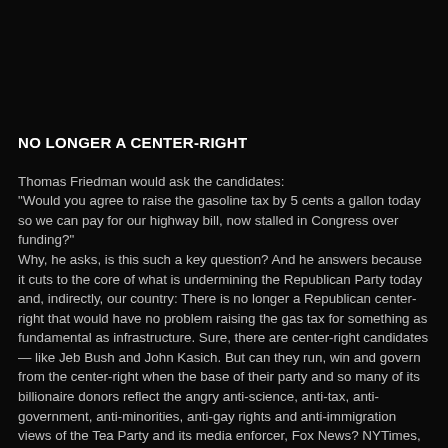NO LONGER A CENTER-RIGHT
Thomas Friedman would ask the candidates: "Would you agree to raise the gasoline tax by 5 cents a gallon today so we can pay for our highway bill, now stalled in Congress over funding?" Why, he asks, is this such a key question? And he answers because it cuts to the core of what is undermining the Republican Party today and, indirectly, our country: There is no longer a Republican center-right that would have no problem raising the gas tax for something as fundamental as infrastructure. Sure, there are center-right candidates — like Jeb Bush and John Kasich. But can they run, win and govern from the center-right when the base of their party and so many of its billionaire donors reflect the angry anti-science, anti-tax, anti-government, anti-minorities, anti-gay rights and anti-immigration views of the Tea Party and its media enforcer, Fox News? NYTimes, August 5, 2015